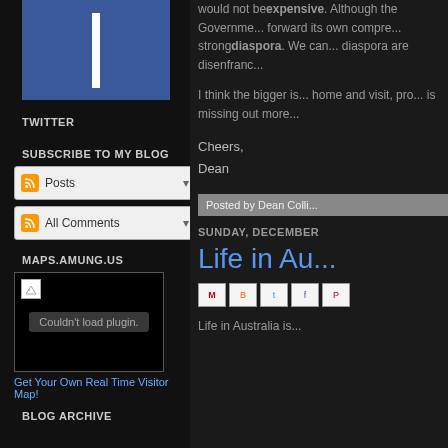[Figure (logo): Facebook logo in blue with white vertical bar]
TWITTER
SUBSCRIBE TO MY BLOG
[Figure (screenshot): RSS feed subscription widget with Posts and All Comments rows]
MAPS.AMUNG.US
[Figure (screenshot): Map plugin area showing broken image and 'Couldn't load plugin.' message]
Get Your Own Real Time Visitor Map!
BLOG ARCHIVE
would not beexpensive. Although the Governme... forward its own compre... strongdiaspora. We can... diaspora are disenfranc...
I think the bigger is... home and visit, pro... is missing out more...
Cheers,
Dean
Posted by Dean Colli...
SUNDAY, DECEMBER
Life in Au...
Life in Australia is...